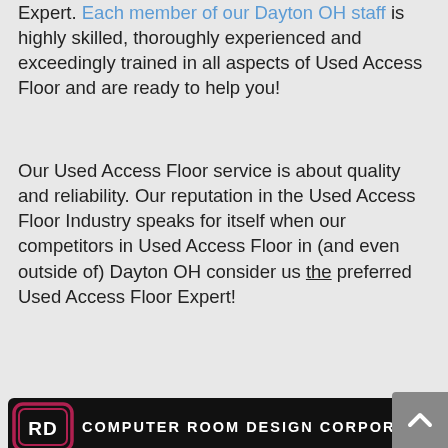Expert. Each member of our Dayton OH staff is highly skilled, thoroughly experienced and exceedingly trained in all aspects of Used Access Floor and are ready to help you!
Our Used Access Floor service is about quality and reliability. Our reputation in the Used Access Floor Industry speaks for itself when our competitors in Used Access Floor in (and even outside of) Dayton OH consider us the preferred Used Access Floor Expert!
[Figure (logo): Computer Room Design Corporation logo: black banner with 'RD' icon on left and 'COMPUTER ROOM DESIGN CORPORATION' text in white on right.]
Custom solutions for Used Access Floor in Dayton OH from the preferred Used Access Floor Expert